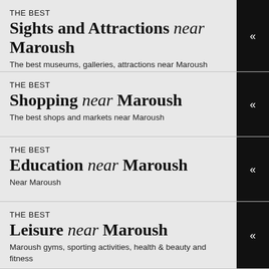THE BEST Sights and Attractions near Maroush
The best museums, galleries, attractions near Maroush
THE BEST Shopping near Maroush
The best shops and markets near Maroush
THE BEST Education near Maroush
Near Maroush
THE BEST Leisure near Maroush
Maroush gyms, sporting activities, health & beauty and fitness